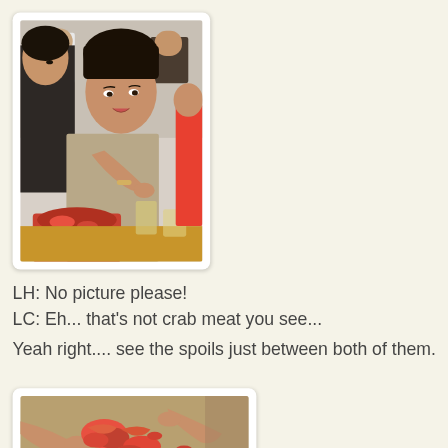[Figure (photo): Two young women sitting at a dining table with seafood (crabs) in front of them. One woman on the left looks away, the other in the center looks at the camera with an expression. Red plates with crab shells visible on the table.]
LH: No picture please!
LC: Eh... that's not crab meat you see...
Yeah right.... see the spoils just between both of them.
[Figure (photo): Close-up of hands picking crab meat at a dining table with crab shells and food visible.]